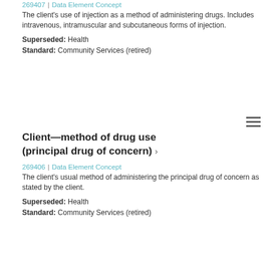The client's use of injection as a method of administering drugs. Includes intravenous, intramuscular and subcutaneous forms of injection.
Superseded: Health Standard: Community Services (retired)
Client—method of drug use (principal drug of concern) ›
269406 | Data Element Concept
The client's usual method of administering the principal drug of concern as stated by the client.
Superseded: Health Standard: Community Services (retired)